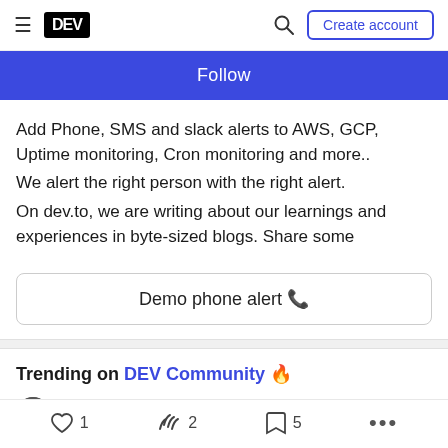DEV | Create account
Follow
Add Phone, SMS and slack alerts to AWS, GCP, Uptime monitoring, Cron monitoring and more..
We alert the right person with the right alert.
On dev.to, we are writing about our learnings and experiences in byte-sized blogs. Share some
Demo phone alert 🔔
Trending on DEV Community 🔥
Can we talk about this feature? Please
♡ 1   2   5   ...